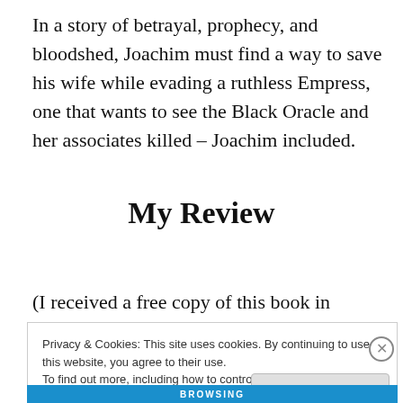In a story of betrayal, prophecy, and bloodshed, Joachim must find a way to save his wife while evading a ruthless Empress, one that wants to see the Black Oracle and her associates killed – Joachim included.
My Review
(I received a free copy of this book in exchange for a review.)
Privacy & Cookies: This site uses cookies. By continuing to use this website, you agree to their use.
To find out more, including how to control cookies, see here: Cookie Policy